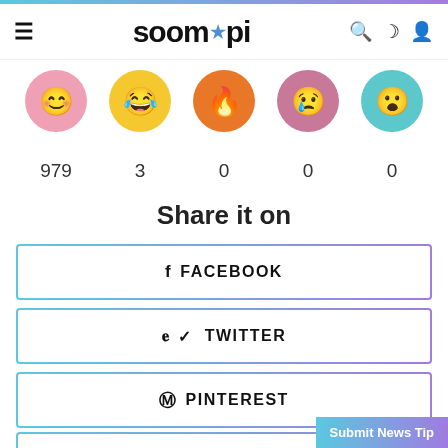soompi
[Figure (illustration): Five emoji reaction icons: pink happy face, yellow laughing face, orange fire emoji, purple crying face, teal shocked face]
979   3   0   0   0
Share it on
f FACEBOOK
✓ TWITTER
® PINTEREST
t TUMBLR
Submit News Tip